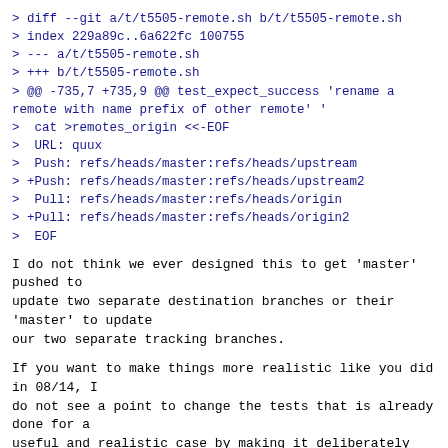> diff --git a/t/t5505-remote.sh b/t/t5505-remote.sh
> index 229a89c..6a622fc 100755
> --- a/t/t5505-remote.sh
> +++ b/t/t5505-remote.sh
> @@ -735,7 +735,9 @@ test_expect_success 'rename a remote with name prefix of other remote' '
>  cat >remotes_origin <<-EOF
>  URL: quux
>  Push: refs/heads/master:refs/heads/upstream
> +Push: refs/heads/master:refs/heads/upstream2
>  Pull: refs/heads/master:refs/heads/origin
> +Pull: refs/heads/master:refs/heads/origin2
>  EOF
I do not think we ever designed this to get 'master' pushed to
update two separate destination branches or their 'master' to update
our two separate tracking branches.
If you want to make things more realistic like you did in 08/14, I
do not see a point to change the tests that is already done for a
useful and realistic case by making it deliberately
less realistic.
The same comment applies to the bogus quux URL from the patch 04/14.